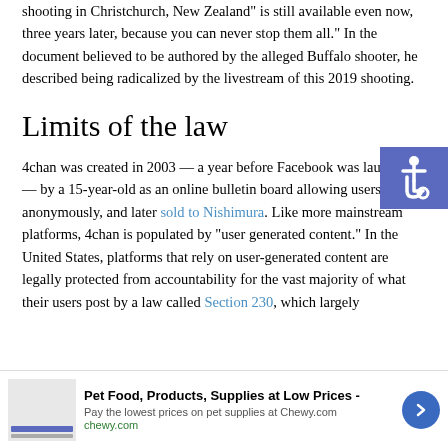shooting in Christchurch, New Zealand" is still available even now, three years later, because you can never stop them all.” In the document believed to be authored by the alleged Buffalo shooter, he described being radicalized by the livestream of this 2019 shooting.
Limits of the law
4chan was created in 2003 — a year before Facebook was launched — by a 15-year-old as an online bulletin board allowing users to post anonymously, and later sold to Nishimura. Like more mainstream platforms, 4chan is populated by “user generated content.” In the United States, platforms that rely on user-generated content are legally protected from accountability for the vast majority of what their users post by a law called Section 230, which largely
[Figure (other): Accessibility icon - wheelchair symbol on blue/purple background]
[Figure (other): Advertisement banner for Chewy.com - Pet Food, Products, Supplies at Low Prices]